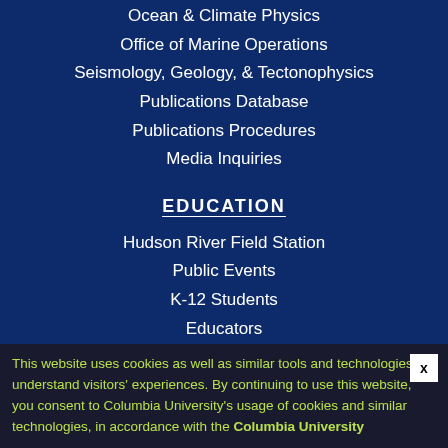Ocean & Climate Physics
Office of Marine Operations
Seismology, Geology, & Tectonophysics
Publications Database
Publications Procedures
Media Inquiries
EDUCATION
Hudson River Field Station
Public Events
K-12 Students
Educators
Undergraduate & Graduate Students
Academic Calendar
LDEO Alumni
Diversity at Lamont
Lamont Code of Conduct
This website uses cookies as well as similar tools and technologies to understand visitors' experiences. By continuing to use this website, you consent to Columbia University's usage of cookies and similar technologies, in accordance with the Columbia University